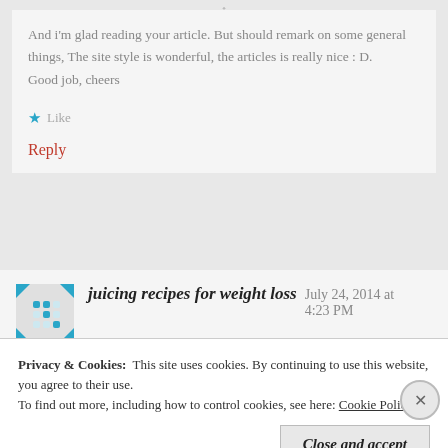And i'm glad reading your article. But should remark on some general things, The site style is wonderful, the articles is really nice : D.
Good job, cheers
Like
Reply
juicing recipes for weight loss   July 24, 2014 at 4:23 PM
Privacy & Cookies:  This site uses cookies. By continuing to use this website, you agree to their use.
To find out more, including how to control cookies, see here: Cookie Policy
Close and accept